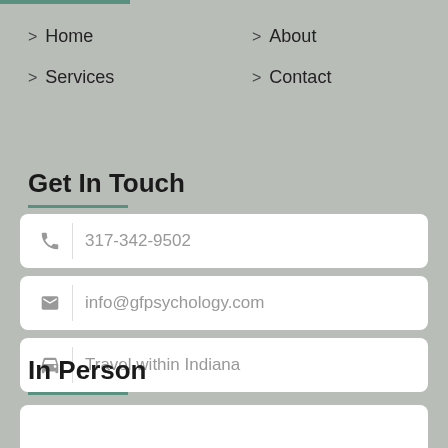> Home
> About
> Services
> Contact
Get In Touch
317-342-9502
info@gfpsychology.com
Travel within Indiana
In Person
Mon - Fri (9AM - 5PM)